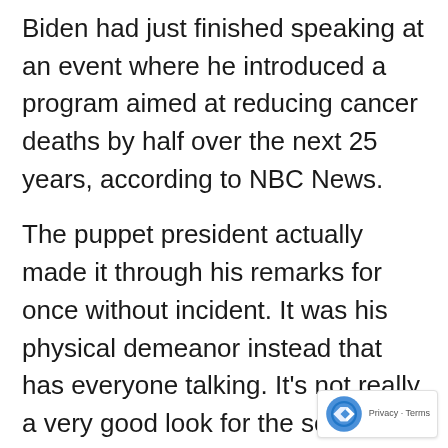Biden had just finished speaking at an event where he introduced a program aimed at reducing cancer deaths by half over the next 25 years, according to NBC News.
The puppet president actually made it through his remarks for once without incident. It was his physical demeanor instead that has everyone talking. It's not really a very good look for the so-called president of the United States to be being led by the hand by his wife like she's some kind of assisted living nurse. Her wh dress surely didn't do anything to minimize